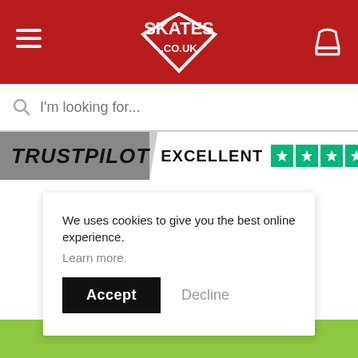[Figure (screenshot): Skates.co.uk website header with red background, hamburger menu, logo, and cart icon]
[Figure (screenshot): Search bar with placeholder text 'I'm looking for...']
[Figure (screenshot): Trustpilot banner showing EXCELLENT rating with 4.5 green stars]
[Figure (photo): Product image area showing CORE helmet/product with oval logo watermark in background]
We uses cookies to give you the best online experience. Learn more.
Accept
Decline